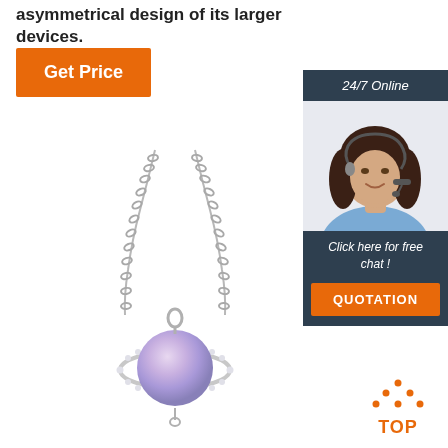asymmetrical design of its larger devices.
[Figure (other): Orange 'Get Price' button]
[Figure (photo): Sidebar with '24/7 Online' header, photo of a woman wearing a headset/microphone, 'Click here for free chat!' text, and orange 'QUOTATION' button]
[Figure (photo): Silver necklace with a planet/Saturn-shaped pendant featuring a lavender moonstone and crystal ring around it]
[Figure (other): Orange dotted triangle 'TOP' back-to-top button icon]